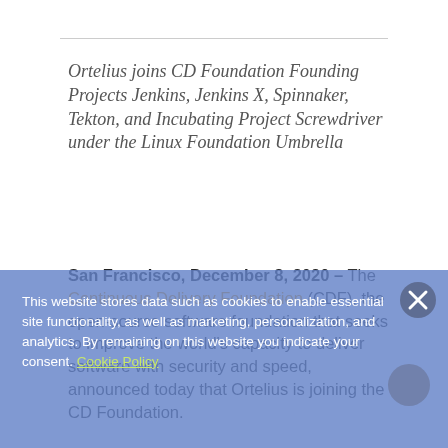Ortelius joins CD Foundation Founding Projects Jenkins, Jenkins X, Spinnaker, Tekton, and Incubating Project Screwdriver under the Linux Foundation Umbrella
San Francisco, December 8, 2020 – The Continuous Delivery Foundation (CDF), the open-source software foundation that seeks to improve the world's capacity to deliver software with security and speed, announced today that Ortelius is joining the CD Foundation.
This website stores data such as cookies to enable essential site functionality, as well as marketing, personalization, and analytics. By remaining on this website you indicate your consent. Cookie Policy